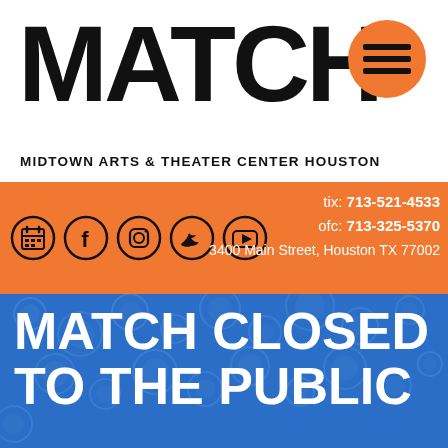MATCH
MIDTOWN ARTS & THEATER CENTER HOUSTON
[Figure (logo): Orange circle hamburger menu button with three horizontal lines]
tix: 713-521-4533  ofc: 713-325-5370  3400 Main Street, Houston TX 77002
[Figure (illustration): Blue background with bubble/circle pattern overlay]
MATCH CLOSED TO THE PUBLIC
Tue, 03/17/2020 - 13:20
On Monday, Harris County and the City of Houston